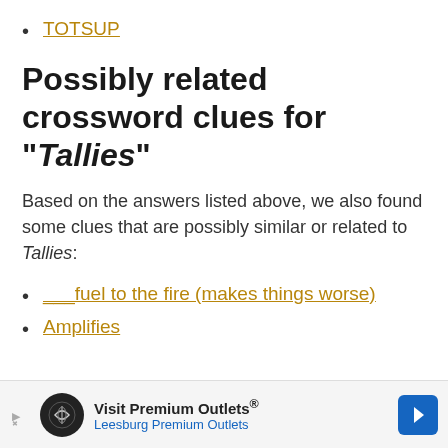TOTSUP
Possibly related crossword clues for "Tallies"
Based on the answers listed above, we also found some clues that are possibly similar or related to Tallies:
___fuel to the fire (makes things worse)
Amplifies
[Figure (other): Advertisement banner for Visit Premium Outlets - Leesburg Premium Outlets]